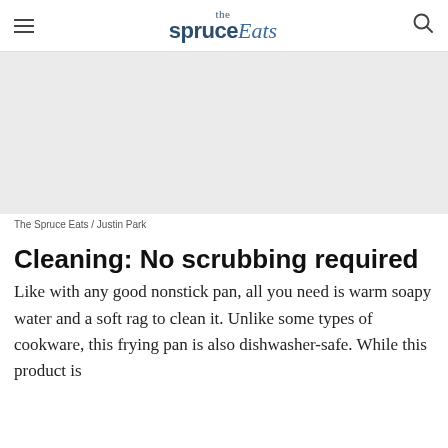the spruce Eats
[Figure (photo): Light gray placeholder image area for a product photo]
The Spruce Eats / Justin Park
Cleaning: No scrubbing required
Like with any good nonstick pan, all you need is warm soapy water and a soft rag to clean it. Unlike some types of cookware, this frying pan is also dishwasher-safe. While this product is